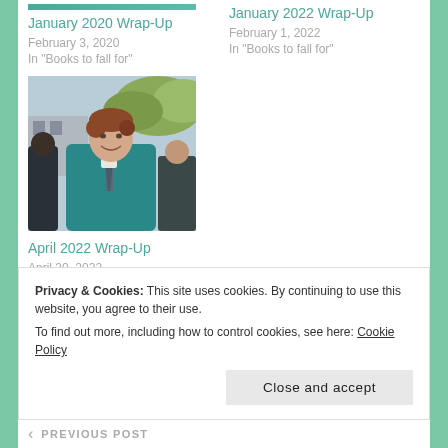January 2020 Wrap-Up
February 3, 2020
In "Books to fall for"
January 2022 Wrap-Up
February 1, 2022
In "Books to fall for"
[Figure (photo): Photo of a young man with reddish-brown hair wearing a teal jacket with a tie, smiling, in an outdoor setting]
April 2022 Wrap-Up
April 30, 2022
In "Books to fall for"
2021, BLOG, BLOGGER, DECEMBER, LIFE, LOOK BACK, MONTHLY, NEWS, RECAP, REVIEW, UPDATE, WRAP-UP, WRAP-UP WRI, YEAR, YEAR IN REVIEW
Privacy & Cookies: This site uses cookies. By continuing to use this website, you agree to their use.
To find out more, including how to control cookies, see here: Cookie Policy
Close and accept
PREVIOUS POST